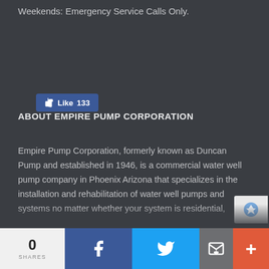Weekends: Emergency Service Calls Only.
[Figure (other): Facebook Like button showing 133 likes]
ABOUT EMPIRE PUMP CORPORATION
Empire Pump Corporation, formerly known as Duncan Pump and established in 1946, is a commercial water well pump company in Phoenix Arizona that specializes in the installation and rehabilitation of water well pumps and systems no matter whether your system is residential, commercial, industrial, municipal, agriculture
0 SHARES | Facebook share | Twitter share | Email share | More